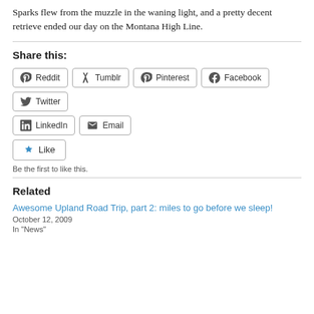Sparks flew from the muzzle in the waning light, and a pretty decent retrieve ended our day on the Montana High Line.
Share this:
Reddit | Tumblr | Pinterest | Facebook | Twitter | LinkedIn | Email
Like
Be the first to like this.
Related
Awesome Upland Road Trip, part 2: miles to go before we sleep!
October 12, 2009
In "News"